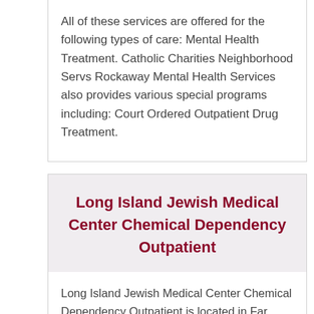All of these services are offered for the following types of care: Mental Health Treatment. Catholic Charities Neighborhood Servs Rockaway Mental Health Services also provides various special programs including: Court Ordered Outpatient Drug Treatment.
Long Island Jewish Medical Center Chemical Dependency Outpatient
Long Island Jewish Medical Center Chemical Dependency Outpatient is located in Far Rockaway, New York - 11691.